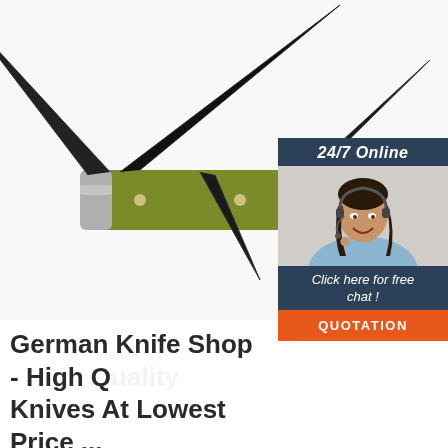[Figure (photo): Photo of a multi-blade German pocket knife with olive/green handle, blades open, against a white background]
[Figure (photo): Chat widget with '24/7 Online' header, photo of a smiling female customer service agent wearing a headset, 'Click here for free chat!' text, and an orange QUOTATION button]
German Knife Shop - High Quality Knives At Lowest Price ...
German Knife Shop offers german pocket knives, daggers, hunting knives and military knives ☆ The best brands in solingen gathered at German Knife Shop
[Figure (logo): Orange TOP logo with mountain/tent icon above the word TOP]